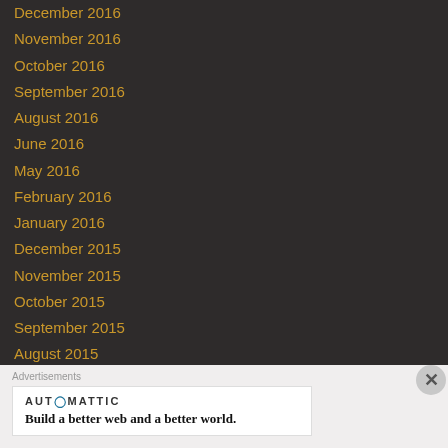December 2016
November 2016
October 2016
September 2016
August 2016
June 2016
May 2016
February 2016
January 2016
December 2015
November 2015
October 2015
September 2015
August 2015
July 2015
June 2015
May 2015
Advertisements
AUTOMATTIC — Build a better web and a better world.